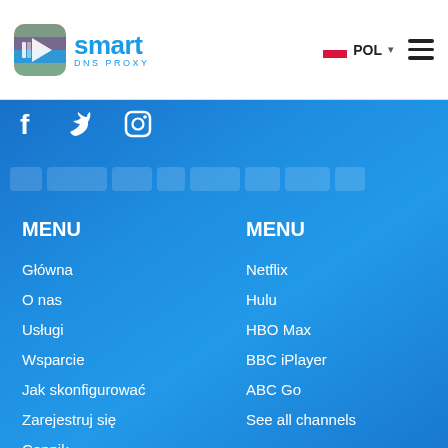smart DNS PROXY | POL
[Figure (logo): Smart DNS Proxy logo — colorful play-button icon with orange/blue/teal stripes, text 'smart' in blue bold and 'DNS PROXY' below in smaller blue letters]
f  Twitter  Instagram (social media icons)
MENU
Główna
O nas
Usługi
Wsparcie
Jak skonfigurować
Zarejestruj się
Cennik
Aktualności
MENU
Netflix
Hulu
HBO Max
BBC iPlayer
ABC Go
See all channels